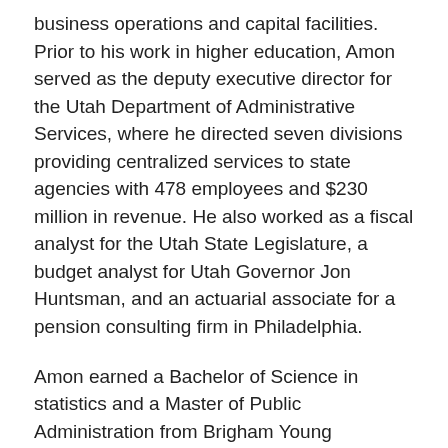business operations and capital facilities. Prior to his work in higher education, Amon served as the deputy executive director for the Utah Department of Administrative Services, where he directed seven divisions providing centralized services to state agencies with 478 employees and $230 million in revenue. He also worked as a fiscal analyst for the Utah State Legislature, a budget analyst for Utah Governor Jon Huntsman, and an actuarial associate for a pension consulting firm in Philadelphia.
Amon earned a Bachelor of Science in statistics and a Master of Public Administration from Brigham Young University, and a Doctor of Philosophy in political science from the University of Utah, where his dissertation research focused on shared services in public organizations. He was an adjunct professor for the political science department at the University of Utah teaching public budgeting classes.